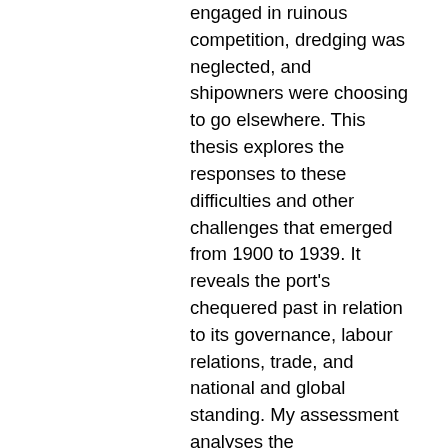engaged in ruinous competition, dredging was neglected, and shipowners were choosing to go elsewhere. This thesis explores the responses to these difficulties and other challenges that emerged from 1900 to 1939. It reveals the port's chequered past in relation to its governance, labour relations, trade, and national and global standing. My assessment analyses the recommendations made in 1902 by the Royal Commission on the Port of London, and follows how this blueprint was modified and enacted. Dock companies were merged in 1909 to form the Port of London Authority – a self-governing public trust with unprecedented, yet still limited, powers. Extensive improvements began, but they were disrupted by industrial unrest and derailed by World War One. The PLA's subsequent achievements included dredging the Thames, upgrading facilities and building the King George V Dock. From